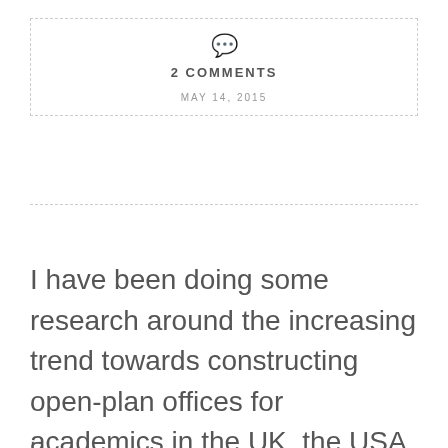[Figure (other): Dashed border box containing a speech bubble icon, '2 COMMENTS' text, and date 'MAY 14, 2015']
I have been doing some research around the increasing trend towards constructing open-plan offices for academics in the UK, the USA and Australia and thought this passage from Discipline and Punish might be apposite. Open-plan office design is now widespread across all industry sectors and around the globe and universities are starting to follow suit.
...